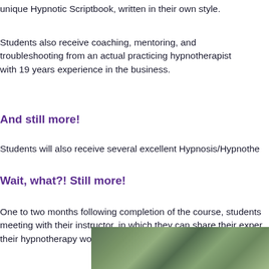unique Hypnotic Scriptbook, written in their own style.
Students also receive coaching, mentoring, and troubleshooting from an actual practicing hypnotherapist with 19 years experience in the business.
And still more!
Students will also receive several excellent Hypnosis/Hypnothe…
Wait, what?! Still more!
One to two months following completion of the course, students… meeting with their instructor, in which they can share their exper… their hypnotherapy work and careers.
[Figure (photo): A nature/outdoor photograph showing green foliage and grass, partially visible at the bottom of the page with a light purple/lavender background border.]